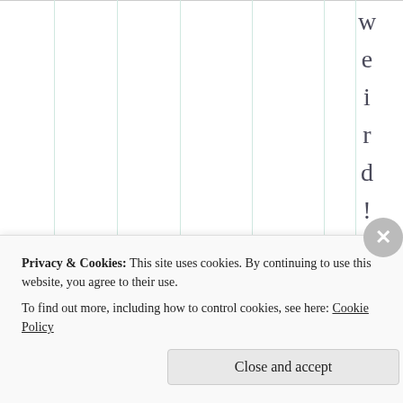[Figure (other): Partial view of a table with vertical column lines in light teal/green color. The rightmost area shows the word 'weird!!Upo' written vertically, one character per line, in dark gray serif font.]
Privacy & Cookies: This site uses cookies. By continuing to use this website, you agree to their use.
To find out more, including how to control cookies, see here: Cookie Policy
Close and accept